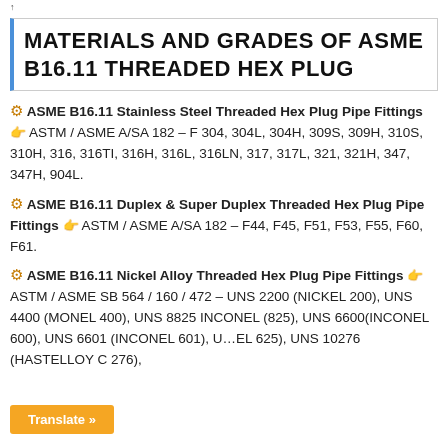MATERIALS AND GRADES OF ASME B16.11 THREADED HEX PLUG
ASME B16.11 Stainless Steel Threaded Hex Plug Pipe Fittings — ASTM / ASME A/SA 182 – F 304, 304L, 304H, 309S, 309H, 310S, 310H, 316, 316TI, 316H, 316L, 316LN, 317, 317L, 321, 321H, 347, 347H, 904L.
ASME B16.11 Duplex & Super Duplex Threaded Hex Plug Pipe Fittings — ASTM / ASME A/SA 182 – F44, F45, F51, F53, F55, F60, F61.
ASME B16.11 Nickel Alloy Threaded Hex Plug Pipe Fittings — ASTM / ASME SB 564 / 160 / 472 – UNS 2200 (NICKEL 200), UNS 4400 (MONEL 400), UNS 8825 INCONEL (825), UNS 6600(INCONEL 600), UNS 6601 (INCONEL 601), U... EL 625), UNS 10276 (HASTELLOY C 276),